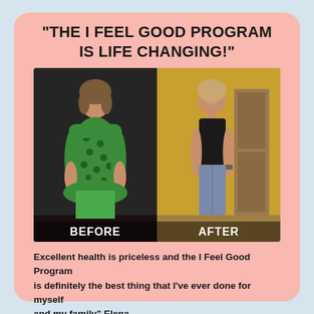"THE I FEEL GOOD PROGRAM IS LIFE CHANGING!"
[Figure (photo): Before and after comparison photos of a woman. Left panel labeled BEFORE shows woman in green floral dress against dark background. Right panel labeled AFTER shows same woman smiling in black tank top and jeans against yellow background.]
Excellent health is priceless and the I Feel Good Program is definitely the best thing that I've ever done for myself and my family" Elena